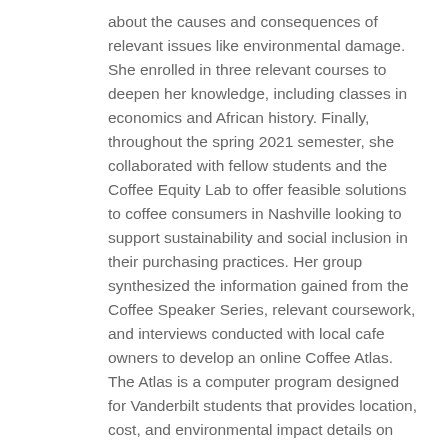about the causes and consequences of relevant issues like environmental damage. She enrolled in three relevant courses to deepen her knowledge, including classes in economics and African history. Finally, throughout the spring 2021 semester, she collaborated with fellow students and the Coffee Equity Lab to offer feasible solutions to coffee consumers in Nashville looking to support sustainability and social inclusion in their purchasing practices. Her group synthesized the information gained from the Coffee Speaker Series, relevant coursework, and interviews conducted with local cafe owners to develop an online Coffee Atlas. The Atlas is a computer program designed for Vanderbilt students that provides location, cost, and environmental impact details on ten sustainable coffee shops near Vanderbilt's campus. After participating in this experience, Jenny hopes to continue developing sustainable supply chains through her career.